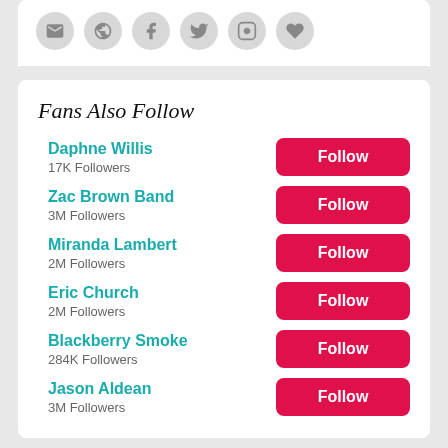[Figure (screenshot): Social media icon buttons in grey circles: email, globe, Facebook, Twitter, Instagram, heart/favorites]
Fans Also Follow
Daphne Willis
17K Followers
Zac Brown Band
3M Followers
Miranda Lambert
2M Followers
Eric Church
2M Followers
Blackberry Smoke
284K Followers
Jason Aldean
3M Followers